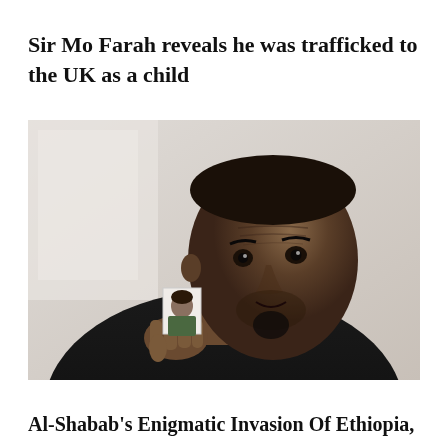Sir Mo Farah reveals he was trafficked to the UK as a child
[Figure (photo): Man holding up a small passport-style photo of a child. The man is wearing a dark sweater and looking at the camera with a serious expression.]
Al-Shabab's Enigmatic Invasion Of Ethiopia,